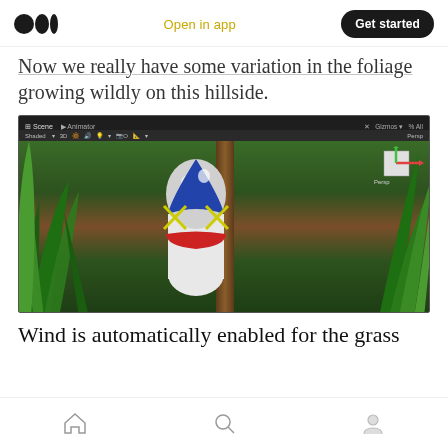Medium logo | Open in app | Get started
Now we really have some variation in the foliage growing wildly on this hillside.
[Figure (screenshot): Unity 3D editor screenshot showing a bowling pin surrounded by lush grass and foliage in a scene view with toolbar showing Scene, Animator, Shaded, and Gizmos options]
Wind is automatically enabled for the grass
Home | Search | Profile